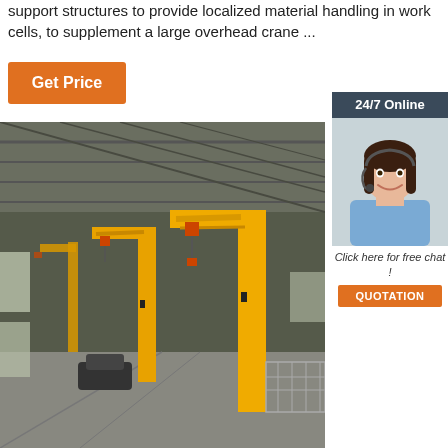support structures to provide localized material handling in work cells, to supplement a large overhead crane ...
[Figure (other): Orange 'Get Price' button]
[Figure (other): 24/7 Online customer service sidebar with photo of woman with headset, 'Click here for free chat!' text and orange QUOTATION button]
[Figure (photo): Industrial warehouse interior with yellow jib cranes mounted on columns, perspective view showing multiple cranes along the length of the building]